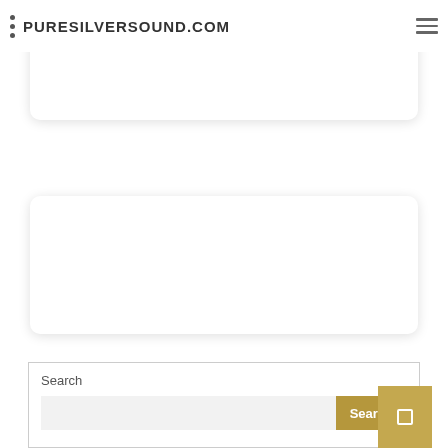PURESILVERSOUND.COM
excitement of live gambling while still remaining in the comfort of your home.
[Figure (other): Empty white rounded card/box in middle of page]
Search
[Figure (other): Search widget with text input field and gold Search button, plus floating gold arrow button]